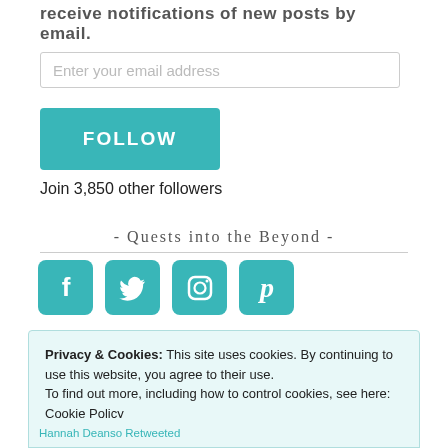receive notifications of new posts by email.
Enter your email address
FOLLOW
Join 3,850 other followers
- Quests into the Beyond -
[Figure (illustration): Social media icons: Facebook, Twitter, Instagram, Pinterest in teal/cyan color on rounded square backgrounds]
Privacy & Cookies: This site uses cookies. By continuing to use this website, you agree to their use.
To find out more, including how to control cookies, see here: Cookie Policy
Close and accept
Hannah Deanso Retweeted